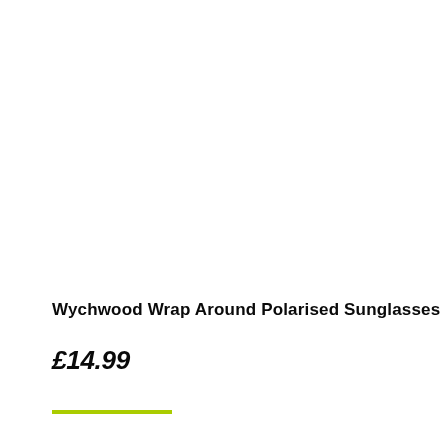Wychwood Wrap Around Polarised Sunglasses
£14.99